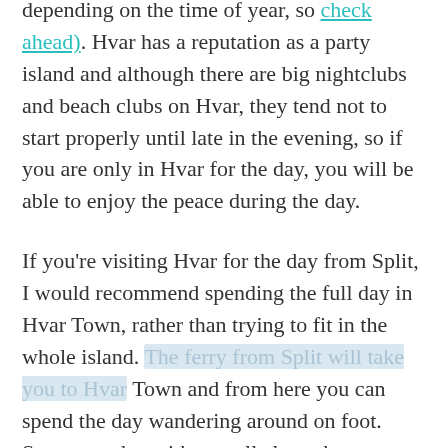depending on the time of year, so check ahead). Hvar has a reputation as a party island and although there are big nightclubs and beach clubs on Hvar, they tend not to start properly until late in the evening, so if you are only in Hvar for the day, you will be able to enjoy the peace during the day.
If you're visiting Hvar for the day from Split, I would recommend spending the full day in Hvar Town, rather than trying to fit in the whole island. The ferry from Split will take you to Hvar Town and from here you can spend the day wandering around on foot. Start your day with a stroll along the promenade and marina, before arriving at the old town, which